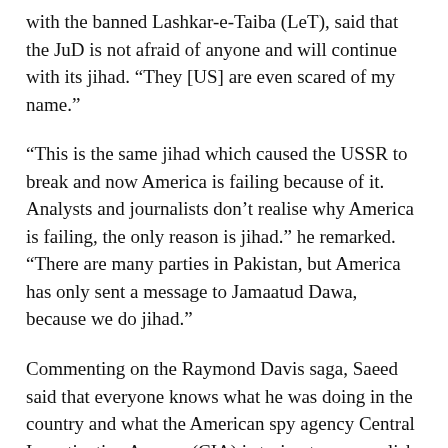with the banned Lashkar-e-Taiba (LeT), said that the JuD is not afraid of anyone and will continue with its jihad. “They [US] are even scared of my name.”
“This is the same jihad which caused the USSR to break and now America is failing because of it. Analysts and journalists don’t realise why America is failing, the only reason is jihad.” he remarked. “There are many parties in Pakistan, but America has only sent a message to Jamaatud Dawa, because we do jihad.”
Commenting on the Raymond Davis saga, Saeed said that everyone knows what he was doing in the country and what the American spy agency Central Investigative Agency (CIA) is trying to accomplish in Pakistan. “America should leave Pakistan and Afghanistan peacefully. Then, we will not come to you with guns but will instead invite you to Islam.”
Saeed added that the reason why the media is against jihad is because it is influenced by the west and the western…